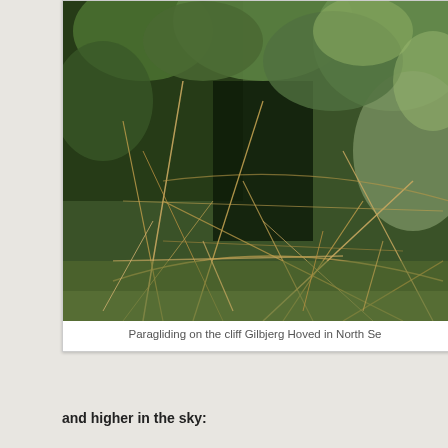[Figure (photo): Photograph of dense vegetation with dry grass stalks, twigs and green bushes/shrubs in the background, taken at cliff Gilbjerg Hoved in North Sealand, Denmark. The image appears to be looking through tangled dry stems and branches with lush green foliage behind.]
Paragliding on the cliff Gilbjerg Hoved in North Se
and higher in the sky: